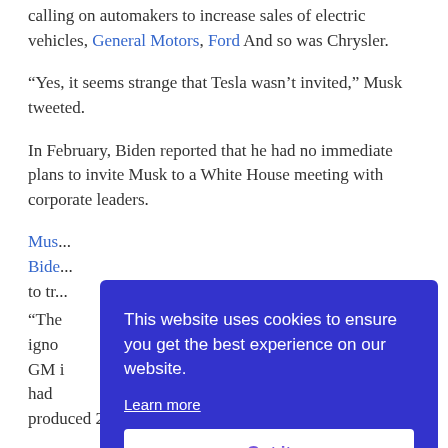calling on automakers to increase sales of electric vehicles, General Motors, Ford And so was Chrysler.
“Yes, it seems strange that Tesla wasn’t invited,” Musk tweeted.
In February, Biden reported that he had no immediate plans to invite Musk to a White House meeting with corporate leaders.
Mus... Bide... to tr...
“The... igno... GM i... had... produced 26 electric cars, “Mask said in an email at the
[Figure (other): Cookie consent overlay with blue background. Text: 'This website uses cookies to ensure you get the best experience on our website.' with 'Learn more' link and 'Got it' button.]